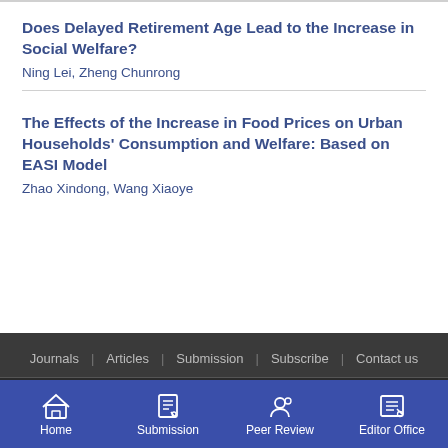Does Delayed Retirement Age Lead to the Increase in Social Welfare?
Ning Lei, Zheng Chunrong
The Effects of the Increase in Food Prices on Urban Households' Consumption and Welfare: Based on EASI Model
Zhao Xindong, Wang Xiaoye
Journals | Articles | Submission | Subscribe | Contact us
Copyright 2022 © Department of Academic Journals, SUFE   No. 321
Home  Submission  Peer Review  Editor Office